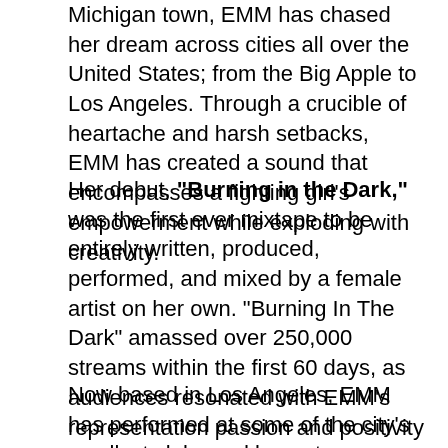Michigan town, EMM has chased her dream across cities all over the United States; from the Big Apple to Los Angeles. Through a crucible of heartache and harsh setbacks, EMM has created a sound that encompasses a fighting girl's empowerment while exploding with creativity.
Her debut, "Burning in the Dark," was the first ever mixtape to be entirely written, produced, performed, and mixed by a female artist on her own. "Burning In The Dark" amassed over 250,000 streams within the first 60 days, as audiences resonated with EMM's representation passion and positivity in the midst of extraordinary adversity.
Now based in Los Angeles, EMM has performed at some of the city's smallest clubs and largest arenas, including the Staples Center and Dodger Stadium. In the last few months, she's